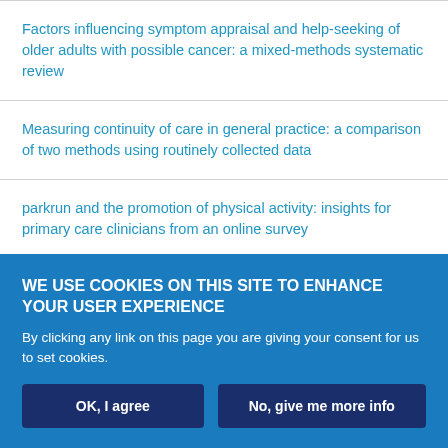Factors influencing symptom appraisal and help-seeking of older adults with possible cancer: a mixed-methods systematic review
Measuring continuity of care in general practice: a comparison of two methods using routinely collected data
parkrun and the promotion of physical activity: insights for primary care clinicians from an online survey
Show more Research
Related Articles
WE USE COOKIES ON THIS SITE TO ENHANCE YOUR USER EXPERIENCE
By clicking any link on this page you are giving your consent for us to set cookies.
OK, I agree
No, give me more info